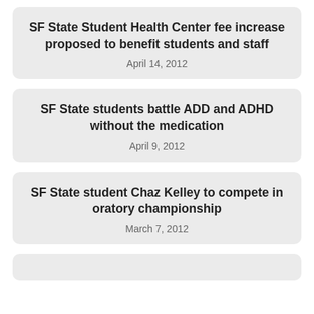SF State Student Health Center fee increase proposed to benefit students and staff
April 14, 2012
SF State students battle ADD and ADHD without the medication
April 9, 2012
SF State student Chaz Kelley to compete in oratory championship
March 7, 2012